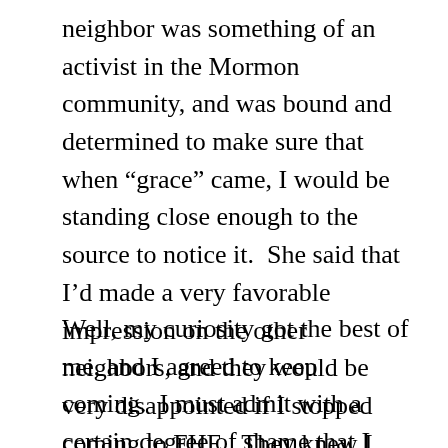neighbor was something of an activist in the Mormon community, and was bound and determined to make sure that when “grace” came, I would be standing close enough to the source to notice it.  She said that I’d made a very favorable impression on the other neighbors, and they would be very disappointed if I stopped coming to FHE.  They knew I wasn’t a Mormon, but it didn’t matter.
Well, my curiosity got the best of me, and I agreed to keep coming.  I must admit with a certain degree of shame that I never flat out said I was an atheist.  I mentioned that an ancestor had been a Baptist preacher, and I think they took me for some kind of a hard